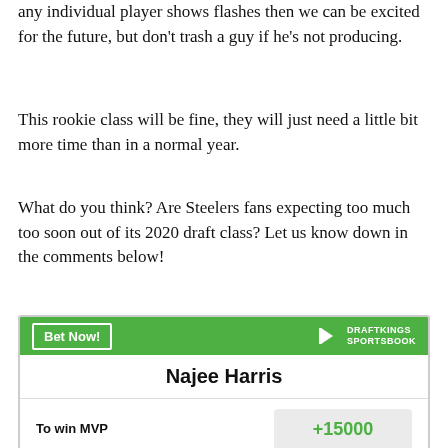any individual player shows flashes then we can be excited for the future, but don't trash a guy if he's not producing.
This rookie class will be fine, they will just need a little bit more time than in a normal year.
What do you think? Are Steelers fans expecting too much too soon out of its 2020 draft class? Let us know down in the comments below!
| Bet | Odds |
| --- | --- |
| To win MVP | +15000 |
| To win Offensive Player of the Year | +6000 |